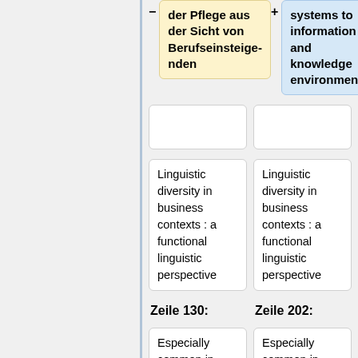der Pflege aus der Sicht von Berufseinsteigenden
systems to information and knowledge environments
Linguistic diversity in business contexts : a functional linguistic perspective
Linguistic diversity in business contexts : a functional linguistic perspective
Zeile 130:
Zeile 202:
Especially common in multilingual publications.
Especially common in multilingual publications.